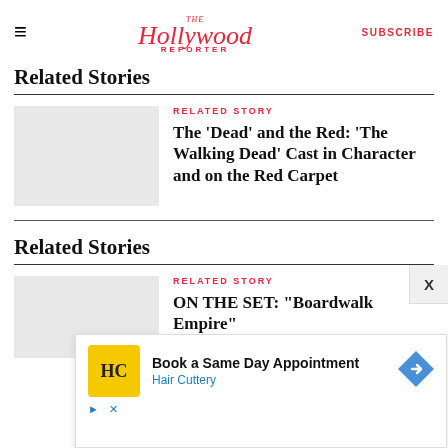The Hollywood Reporter | SUBSCRIBE
Related Stories
[Figure (photo): Gray placeholder thumbnail for story about The Walking Dead cast]
RELATED STORY
The 'Dead' and the Red: 'The Walking Dead' Cast in Character and on the Red Carpet
Related Stories
[Figure (photo): Gray placeholder thumbnail for Boardwalk Empire story]
RELATED STORY
ON THE SET: "Boardwalk Empire"
[Figure (other): Hair Cuttery advertisement: Book a Same Day Appointment]